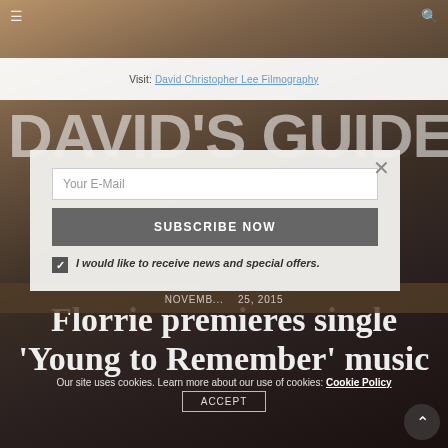[Figure (screenshot): Website screenshot showing David's Guide magazine page with a subscription modal popup, overlaid on a dark-toned background image. The page includes navigation icons, a white top bar with a bibliographic link, the David's Guide masthead title, a subscription modal with email input and subscribe button, an article headline about Florrie premiering single 'Young to Remember' music, a cookie consent bar, and a back-to-top button.]
Visit: David Christopher Lee Filmography
DAVID'S GUIDE
Your E-Mail
SUBSCRIBE NOW
I would like to receive news and special offers.
NOVEMB... 25, 2015
Florrie premieres single 'Young to Remember' music
Our site uses cookies. Learn more about our use of cookies: Cookie Policy
ACCEPT